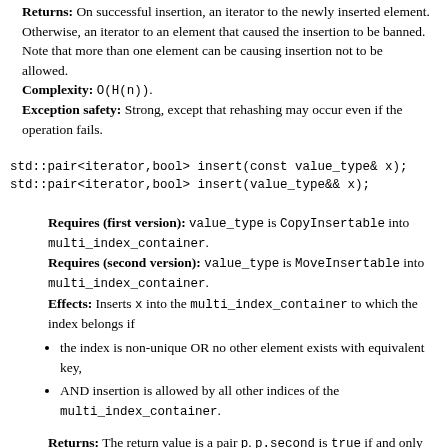Returns: On successful insertion, an iterator to the newly inserted element. Otherwise, an iterator to an element that caused the insertion to be banned. Note that more than one element can be causing insertion not to be allowed. Complexity: O(H(n)). Exception safety: Strong, except that rehashing may occur even if the operation fails.
Requires (first version): value_type is CopyInsertable into multi_index_container. Requires (second version): value_type is MoveInsertable into multi_index_container. Effects: Inserts x into the multi_index_container to which the index belongs if
the index is non-unique OR no other element exists with equivalent key,
AND insertion is allowed by all other indices of the multi_index_container.
Returns: The return value is a pair p. p.second is true if and only if insertion took place. On successful